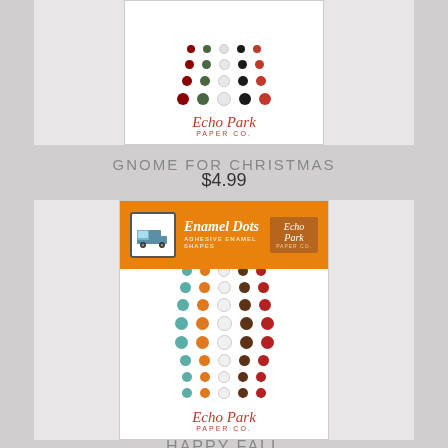[Figure (photo): Echo Park Paper Co. Gnome For Christmas Enamel Dots product packaging showing colored dots in red, green, white, black, and dark red arranged in a grid, with Echo Park Paper Co. logo at the bottom]
GNOME FOR CHRISTMAS
$4.99
[Figure (photo): Echo Park Paper Co. Happy Fall Enamel Dots product packaging with orange plaid header, truck illustration, and colored dots in teal, orange, white, brown, and red arranged in a grid]
HAPPY FALL